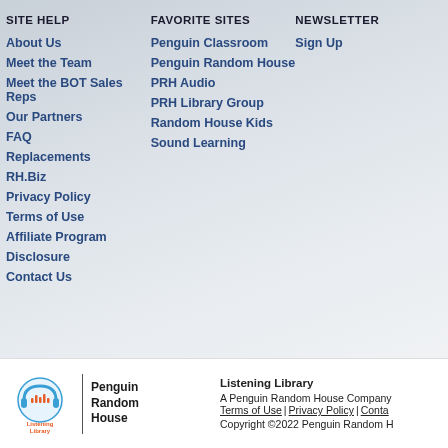SITE HELP
About Us
Meet the Team
Meet the BOT Sales Reps
Our Partners
FAQ
Replacements
RH.Biz
Privacy Policy
Terms of Use
Affiliate Program
Disclosure
Contact Us
FAVORITE SITES
Penguin Classroom
Penguin Random House
PRH Audio
PRH Library Group
Random House Kids
Sound Learning
NEWSLETTER
Sign Up
[Figure (logo): Listening Library logo with headphone icon and Penguin Random House branding]
Listening Library
A Penguin Random House Company
Terms of Use | Privacy Policy | Conta...
Copyright ©2022 Penguin Random H...